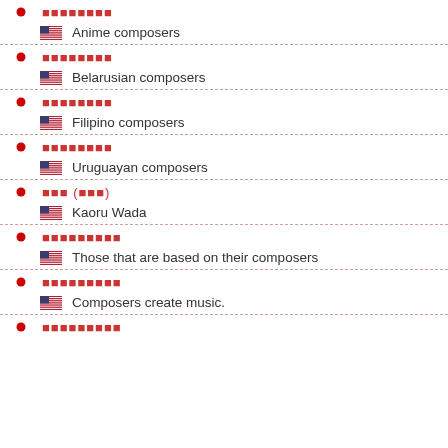Japanese text (placeholder) | Anime composers
Japanese text (placeholder) | Belarusian composers
Japanese text (placeholder) | Filipino composers
Japanese text (placeholder) | Uruguayan composers
Japanese text (placeholder) | Kaoru Wada
Japanese text (placeholder) | Those that are based on their composers
Japanese text (placeholder) | Composers create music.
Japanese text (placeholder)